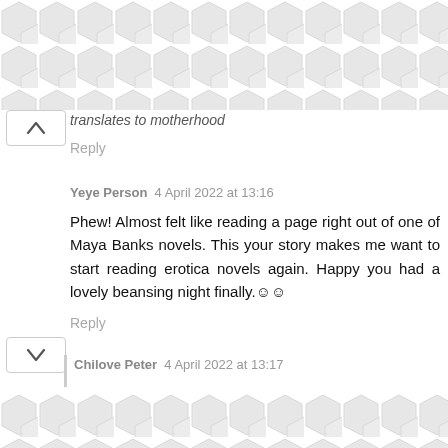[Figure (other): Hexagonal/diamond pattern decorative background at top of page]
translates to motherhood
Reply
Yeye Person 4 April 2022 at 13:16
Phew! Almost felt like reading a page right out of one of Maya Banks novels. This your story makes me want to start reading erotica novels again. Happy you had a lovely beansing night finally.☺☺
Reply
[Figure (other): Hexagonal/diamond pattern decorative background at bottom of page]
Chilove Peter 4 April 2022 at 13:17